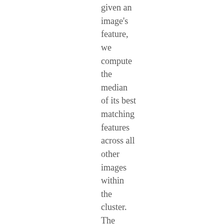given an image's feature, we compute the median of its best matching features across all other images within the cluster. The median ensures that high weight goes only to those edge fragments that produce low matching costs